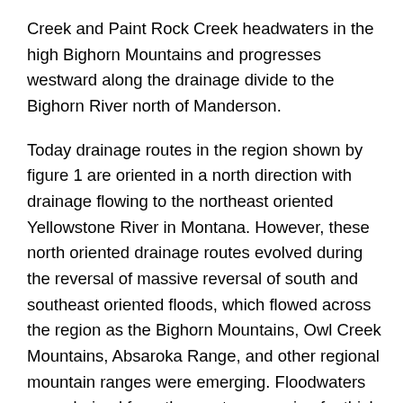Creek and Paint Rock Creek headwaters in the high Bighorn Mountains and progresses westward along the drainage divide to the Bighorn River north of Manderson.
Today drainage routes in the region shown by figure 1 are oriented in a north direction with drainage flowing to the northeast oriented Yellowstone River in Montana. However, these north oriented drainage routes evolved during the reversal of massive reversal of south and southeast oriented floods, which flowed across the region as the Bighorn Mountains, Owl Creek Mountains, Absaroka Range, and other regional mountain ranges were emerging. Floodwaters were derived from the western margin of a thick North American ice sheet and were flowing from western Canada to and across the region seen in figure 1. At least initially the Bighorn Basin,